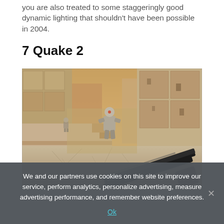you are also treated to some staggeringly good dynamic lighting that shouldn't have been possible in 2004.
7 Quake 2
[Figure (screenshot): First-person shooter screenshot from Quake 2 remaster, showing a player with a shotgun aiming at a robotic enemy in a sandy/concrete industrial outdoor level with warm orange lighting.]
We and our partners use cookies on this site to improve our service, perform analytics, personalize advertising, measure advertising performance, and remember website preferences.